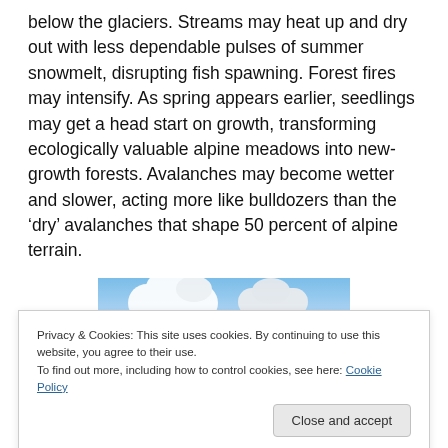below the glaciers. Streams may heat up and dry out with less dependable pulses of summer snowmelt, disrupting fish spawning. Forest fires may intensify. As spring appears earlier, seedlings may get a head start on growth, transforming ecologically valuable alpine meadows into new-growth forests. Avalanches may become wetter and slower, acting more like bulldozers than the ‘dry’ avalanches that shape 50 percent of alpine terrain.
[Figure (photo): Mountain landscape with blue sky, white clouds in upper half and green/forested terrain in lower half]
Privacy & Cookies: This site uses cookies. By continuing to use this website, you agree to their use.
To find out more, including how to control cookies, see here: Cookie Policy